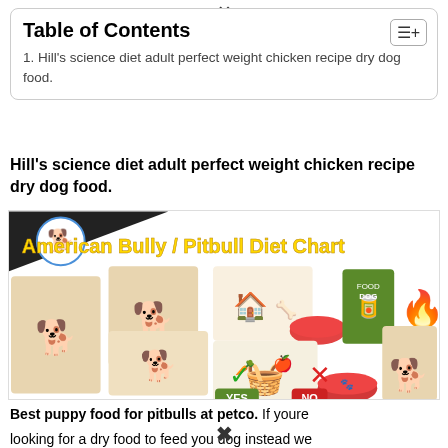Table of Contents
1. Hill's science diet adult perfect weight chicken recipe dry dog food.
Hill's science diet adult perfect weight chicken recipe dry dog food.
[Figure (infographic): American Bully / Pitbull Diet Chart infographic showing multiple pitbull/bully breed dogs, food items including a dog house, treats, dry food bag, vegetables/fruits basket, and red food bowls. Green checkmark with YES label and red X with NO label indicating yes/no food options.]
Best puppy food for pitbulls at petco. If youre looking for a dry food to feed you dog instead we